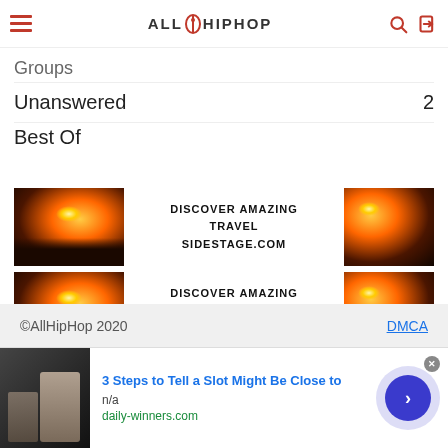AllHipHop
Groups
Unanswered  2
Best Of
[Figure (illustration): Advertisement banner: DISCOVER AMAZING TRAVEL SIDESTAGE.COM with sunset/coastal landscape images on left and right]
[Figure (illustration): Advertisement banner (duplicate): DISCOVER AMAZING TRAVEL SIDESTAGE.COM with sunset/coastal landscape images on left and right]
©AllHipHop 2020  DMCA
[Figure (screenshot): Bottom advertisement: 3 Steps to Tell a Slot Might Be Close to  n/a  daily-winners.com]